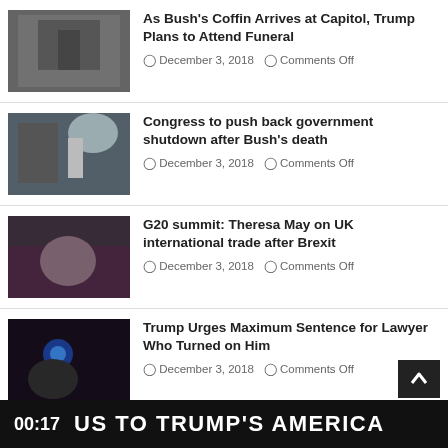[Figure (photo): Military honor guard with flag at Capitol steps]
As Bush's Coffin Arrives at Capitol, Trump Plans to Attend Funeral
December 3, 2018  Comments Off
[Figure (photo): Police officer near Capitol building]
Congress to push back government shutdown after Bush's death
December 3, 2018  Comments Off
[Figure (photo): Theresa May at G20 summit]
G20 summit: Theresa May on UK international trade after Brexit
December 3, 2018  Comments Off
[Figure (photo): Police lights in dark scene]
Trump Urges Maximum Sentence for Lawyer Who Turned on Him
December 3, 2018  Comments Off
[Figure (screenshot): Partial news item at bottom]
00:17  US TO TRUMP'S AMERICA